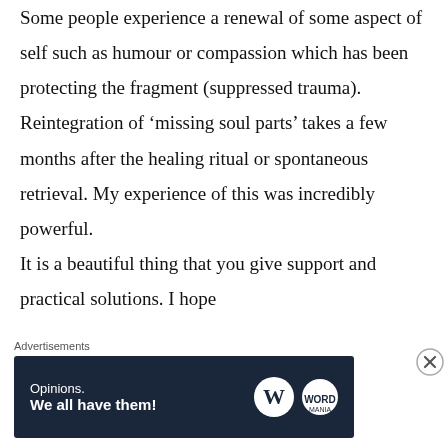Some people experience a renewal of some aspect of self such as humour or compassion which has been protecting the fragment (suppressed trauma). Reintegration of ‘missing soul parts’ takes a few months after the healing ritual or spontaneous retrieval. My experience of this was incredibly powerful. It is a beautiful thing that you give support and practical solutions. I hope
Advertisements
[Figure (infographic): Dark navy advertisement banner reading 'Opinions. We all have them!' with WordPress (W) logo and another circular logo on the right.]